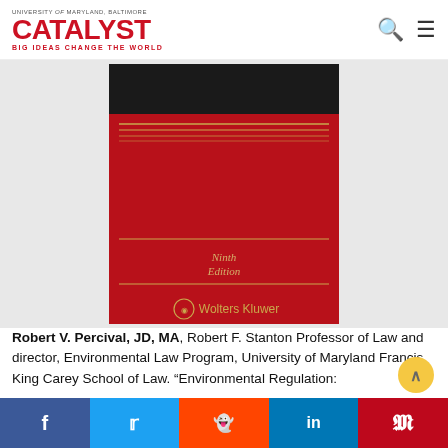UNIVERSITY of MARYLAND, BALTIMORE — CATALYST — BIG IDEAS CHANGE THE WORLD
[Figure (photo): Red book cover with gold horizontal lines, 'Ninth Edition' text in italic, and Wolters Kluwer logo at the bottom center. Dark band at top.]
Robert V. Percival, JD, MA, Robert F. Stanton Professor of Law and director, Environmental Law Program, University of Maryland Francis King Carey School of Law. "Environmental Regulation:
Facebook | Twitter | Reddit | LinkedIn | Pinterest